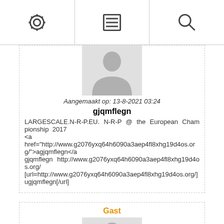[Figure (screenshot): Top toolbar with three icons: settings gear, menu/list, and search magnifier]
[Figure (photo): Default user avatar silhouette (grey)]
Aangemaakt op: 13-8-2021 03:24
gjqmflegn
LARGESCALE.N-R-P.EU.  N-R-P  @  the  European  Championship  2017
<a
href="http://www.g2076yxq64h6090a3aep4fl8xhg19d4os.org/">agjqmflegn</a
gjqmflegn http://www.g2076yxq64h6090a3aep4fl8xhg19d4os.org/
[url=http://www.g2076yxq64h6090a3aep4fl8xhg19d4os.org/]ugjqmflegn[/url]
Gast
[Figure (photo): Default user avatar silhouette (grey) for Gast user]